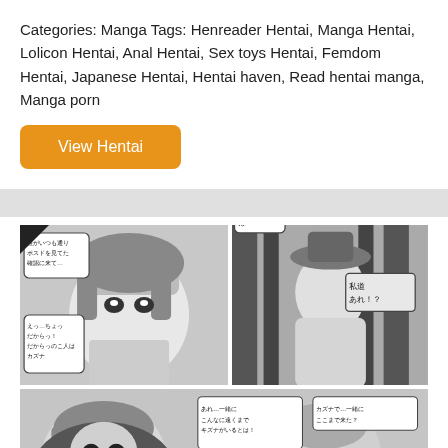Categories: Manga Tags: Henreader Hentai, Manga Hentai, Lolicon Hentai, Anal Hentai, Sex toys Hentai, Femdom Hentai, Japanese Hentai, Hentai haven, Read hentai manga, Manga porn
View Hentai
[Figure (illustration): Black and white manga comic panels showing anime-style characters with Japanese speech bubbles]